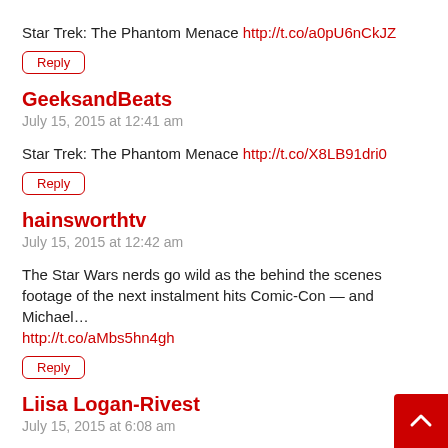Star Trek: The Phantom Menace http://t.co/a0pU6nCkJZ
Reply
GeeksandBeats
July 15, 2015 at 12:41 am
Star Trek: The Phantom Menace http://t.co/X8LB91dri0
Reply
hainsworthtv
July 15, 2015 at 12:42 am
The Star Wars nerds go wild as the behind the scenes footage of the next instalment hits Comic-Con — and Michael… http://t.co/aMbs5hn4gh
Reply
Liisa Logan-Rivest
July 15, 2015 at 6:08 am